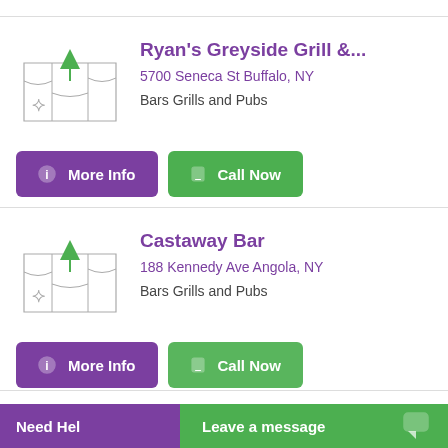Ryan's Greyside Grill &...
5700 Seneca St Buffalo, NY
Bars Grills and Pubs
More Info
Call Now
Castaway Bar
188 Kennedy Ave Angola, NY
Bars Grills and Pubs
More Info
Call Now
Need Help  Leave a message